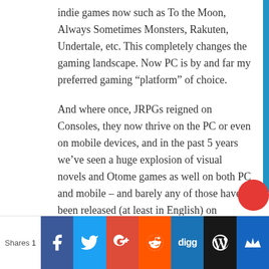indie games now such as To the Moon, Always Sometimes Monsters, Rakuten, Undertale, etc. This completely changes the gaming landscape. Now PC is by and far my preferred gaming “platform” of choice.
And where once, JRPGs reigned on Consoles, they now thrive on the PC or even on mobile devices, and in the past 5 years we’ve seen a huge explosion of visual novels and Otome games as well on both PC and mobile – and barely any of those have been released (at least in English) on consoles.
Where once the PC had almost no games that appealed to my tastes, now suddenly
Shares | Facebook | Twitter | Google+ | Reddit | Digg | WordPress | Crown